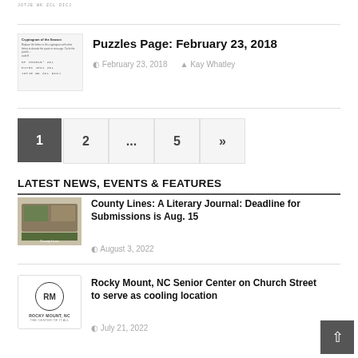JOTJE WK ZCL DICJ
[Figure (other): Cryptogram puzzle thumbnail with encoded text lines]
Puzzles Page: February 23, 2018
February 23, 2018  Kay Whatley
1
2
...
5
»
LATEST NEWS, EVENTS & FEATURES
[Figure (photo): County Lines: A Literary Journal book cover thumbnail]
County Lines: A Literary Journal: Deadline for Submissions is Aug. 15
August 3, 2022
[Figure (logo): Rocky Mount, NC - The Center of It All circular logo]
Rocky Mount, NC Senior Center on Church Street to serve as cooling location
July 21, 2022